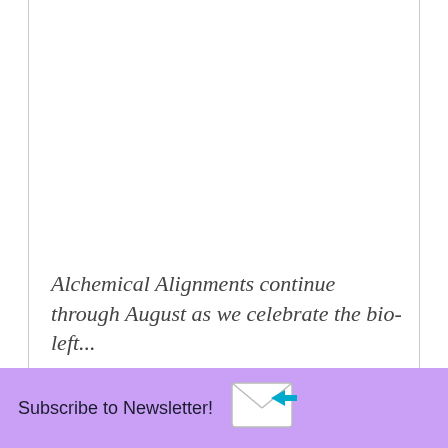Alchemical Alignments continue through August as we celebrate the bio-left...
Subscribe to Newsletter!